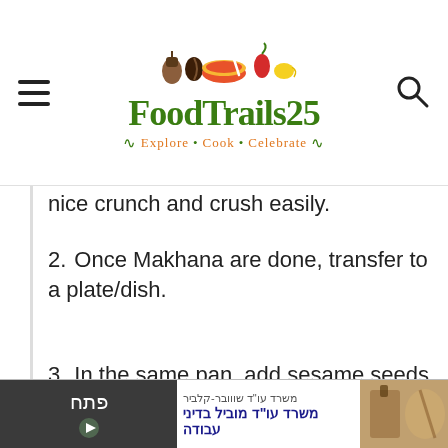FoodTrails25 — Explore · Cook · Celebrate
nice crunch and crush easily.
2. Once Makhana are done, transfer to a plate/dish.
3. In the same pan, add sesame seeds and fennel seeds and lightly roast the seeds till these give nutty aroma. Take out and
Privacy & Cookies: This site uses cookies. By continuing to use this website, you agree to their use.
To find out more, including how to control cookies, see here:
Cookie Policy
Close and accept
[Figure (screenshot): Hebrew language advertisement banner with dark left panel showing open/פתח button and play icon, Hebrew text in middle, and image on right]